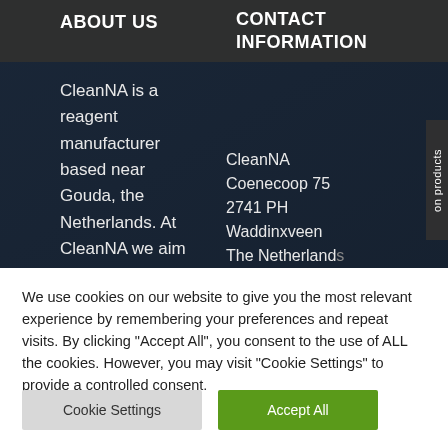ABOUT US
CONTACT INFORMATION
CleanNA is a reagent manufacturer based near Gouda, the Netherlands. At CleanNA we aim to collaborate
CleanNA
Coenecoop 75
2741 PH
Waddinxveen
The Netherlands

T: +31 (0) 182
22 32 50
We use cookies on our website to give you the most relevant experience by remembering your preferences and repeat visits. By clicking "Accept All", you consent to the use of ALL the cookies. However, you may visit "Cookie Settings" to provide a controlled consent.